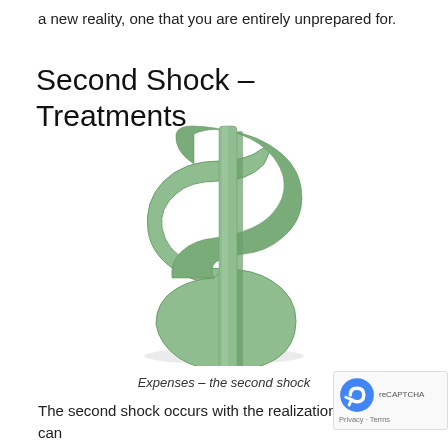a new reality, one that you are entirely unprepared for.
Second Shock – Treatments
[Figure (illustration): 3D green dollar sign symbol on white background, representing expenses]
Expenses – the second shock
The second shock occurs with the realization that cancer treatments are difficult, painful and expensive. You run across from a disinterested healthcare system, bottom of